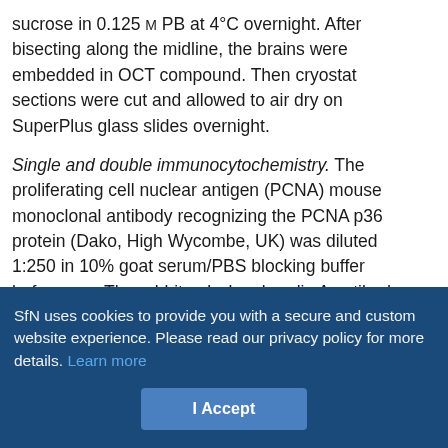sucrose in 0.125 M PB at 4°C overnight. After bisecting along the midline, the brains were embedded in OCT compound. Then cryostat sections were cut and allowed to air dry on SuperPlus glass slides overnight.
Single and double immunocytochemistry. The proliferating cell nuclear antigen (PCNA) mouse monoclonal antibody recognizing the PCNA p36 protein (Dako, High Wycombe, UK) was diluted 1:250 in 10% goat serum/PBS blocking buffer before use. The rabbit polyclonal cyclin A antibody (ab 7956; working dilution, 1:200; Abcam, Cambridge, UK) was raised against the C-terminal domain of cyclin A2. The mouse monoclonal NeuN antibody (dilution, 1:500; Chemicon, Temecula, CA) was used as a neuronal marker. The rat
SfN uses cookies to provide you with a secure and custom website experience. Please read our privacy policy for more details. Learn more
I Accept